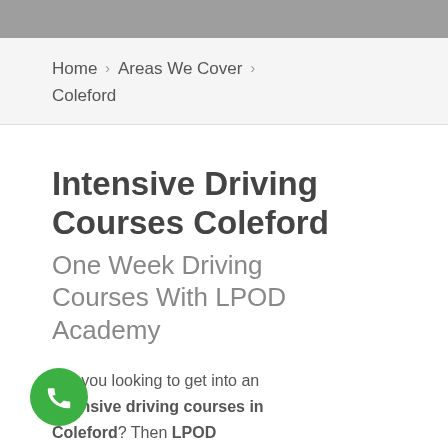[Figure (photo): Top banner image, partially cropped, gray/dark tones]
Home > Areas We Cover > Coleford
Intensive Driving Courses Coleford
One Week Driving Courses With LPOD Academy
Are you looking to get into an intensive driving courses in Coleford? Then LPOD Academy is the place you have